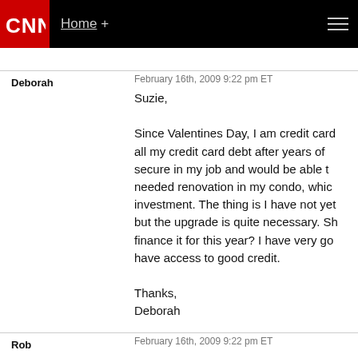CNN | Home +
February 16th, 2009 9:22 pm ET
Suzie,

Since Valentines Day, I am credit card all my credit card debt after years of secure in my job and would be able to needed renovation in my condo, which investment. The thing is I have not yet but the upgrade is quite necessary. Sh finance it for this year? I have very go have access to good credit.

Thanks,
Deborah
February 16th, 2009 9:22 pm ET
Rob